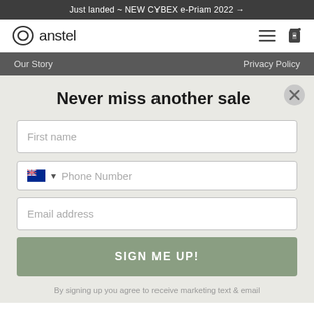Just landed ~ NEW CYBEX e-Priam 2022 →
[Figure (logo): Anstel logo with circular icon and wordmark 'anstel']
Our Story    Privacy Policy
Never miss another sale
First name
🇦🇺 ▾  Phone Number
Email address
SIGN ME UP!
By signing up you agree to receive marketing text & email